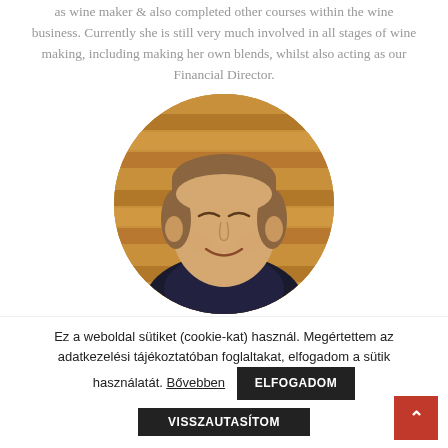as wine maker & also completed other courses within the wine business. Currently she is still very much involved in all stages of wine making, including making her own blends, whilst also acting as our Financial Director.
[Figure (photo): Circular cropped portrait photo of a middle-aged smiling man with short brown hair, wearing a dark suit, photographed indoors with wooden slats in the background.]
Ez a weboldal sütiket (cookie-kat) használ. Megértettem az adatkezelési tájékoztatóban foglaltakat, elfogadom a sütik használatát. Bővebben  ELFOGADOM  VISSZAUTASÍTOM